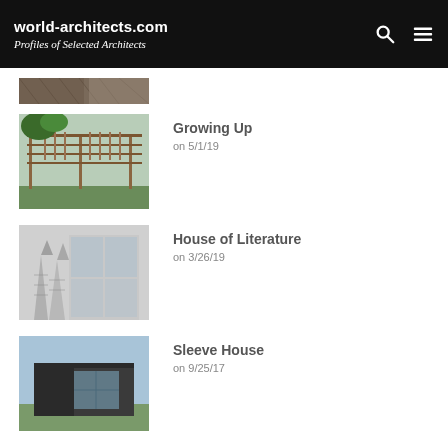world-architects.com – Profiles of Selected Architects
[Figure (photo): Partial view of an architectural image, cropped at top]
Growing Up – on 5/1/19
House of Literature – on 3/26/19
Sleeve House – on 9/25/17